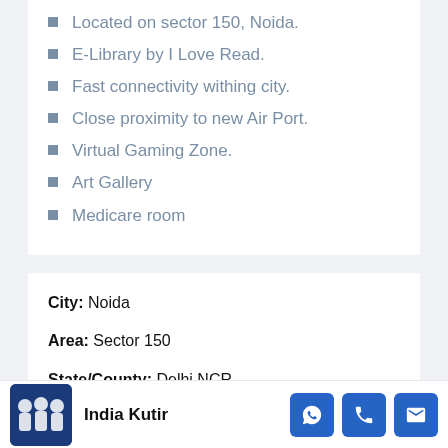Located on sector 150, Noida.
E-Library by I Love Read.
Fast connectivity withing city.
Close proximity to new Air Port.
Virtual Gaming Zone.
Art Gallery
Medicare room
City: Noida
Area: Sector 150
State/County: Delhi NCR
India Kutir